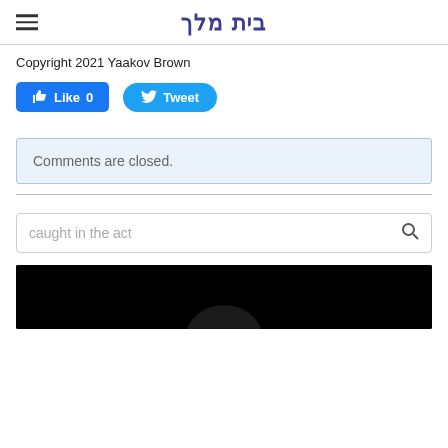בית מלך
Copyright 2021 Yaakov Brown
[Figure (screenshot): Facebook Like button showing 'Like 0' and Twitter Tweet button]
Comments are closed.
caught in the act
[Figure (photo): Dark/black image with faint silhouette visible at bottom]